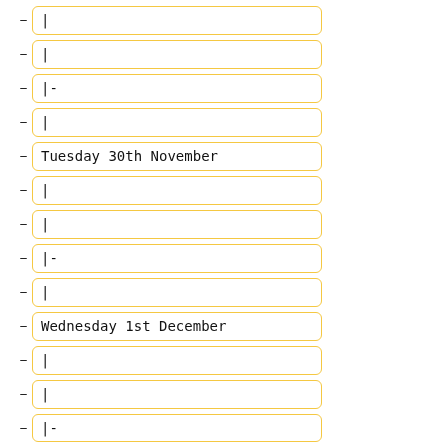|
|
|-
|
Tuesday 30th November
|
|
|-
|
Wednesday 1st December
|
|
|-